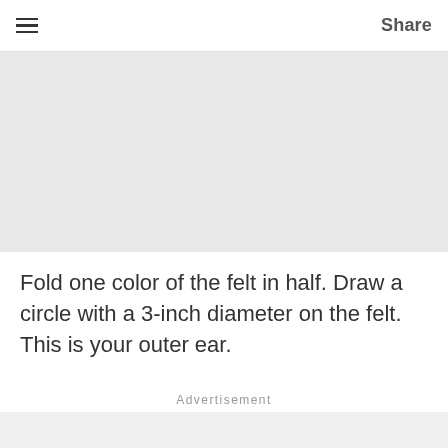☰  Share
[Figure (other): Gray placeholder image block]
Fold one color of the felt in half. Draw a circle with a 3-inch diameter on the felt. This is your outer ear.
Advertisement
[Figure (other): Gray placeholder advertisement block at bottom]